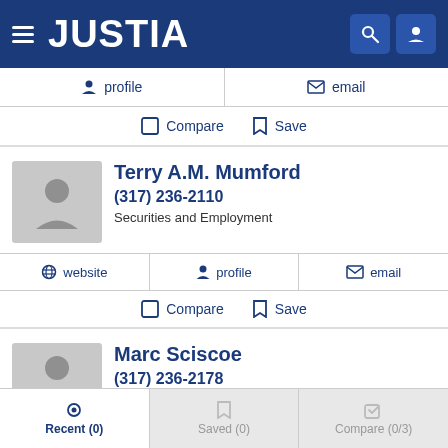JUSTIA
profile | email
Compare  Save
Terry A.M. Mumford
(317) 236-2110
Securities and Employment
website | profile | email
Compare  Save
Marc Sciscoe
(317) 236-2178
Recent (0)  Saved (0)  Compare (0/3)